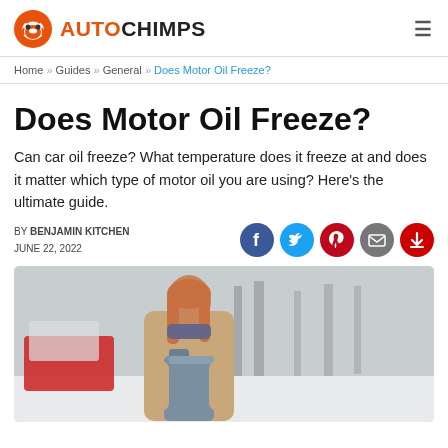AUTOCHIMPS
Home » Guides » General » Does Motor Oil Freeze?
Does Motor Oil Freeze?
Can car oil freeze? What temperature does it freeze at and does it matter which type of motor oil you are using? Here's the ultimate guide.
BY BENJAMIN KITCHEN
JUNE 22, 2022
[Figure (photo): Woman in winter coat holding a motor oil container next to a car in a snowy setting]